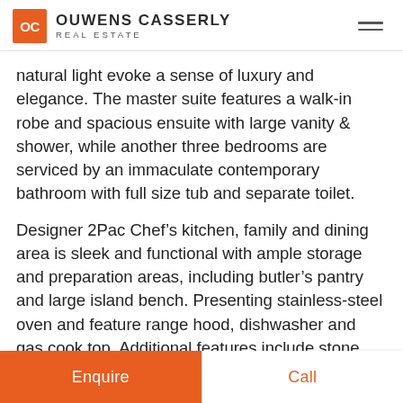OC OUWENS CASSERLY REAL ESTATE
natural light evoke a sense of luxury and elegance. The master suite features a walk-in robe and spacious ensuite with large vanity & shower, while another three bedrooms are serviced by an immaculate contemporary bathroom with full size tub and separate toilet.
Designer 2Pac Chef’s kitchen, family and dining area is sleek and functional with ample storage and preparation areas, including butler’s pantry and large island bench. Presenting stainless-steel oven and feature range hood, dishwasher and gas cook top. Additional features include stone bench tops, double sink & mirror splash back.
Enquire
Call